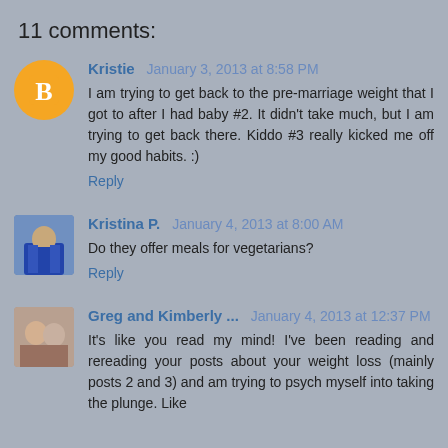11 comments:
Kristie  January 3, 2013 at 8:58 PM
I am trying to get back to the pre-marriage weight that I got to after I had baby #2. It didn't take much, but I am trying to get back there. Kiddo #3 really kicked me off my good habits. :)
Reply
Kristina P.  January 4, 2013 at 8:00 AM
Do they offer meals for vegetarians?
Reply
Greg and Kimberly ...  January 4, 2013 at 12:37 PM
It's like you read my mind! I've been reading and rereading your posts about your weight loss (mainly posts 2 and 3) and am trying to psych myself into taking the plunge. Like